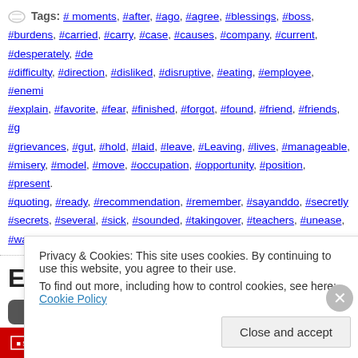Tags: #moments, #after, #ago, #agree, #blessings, #boss, #burdens, #carried, #carry, #case, #causes, #company, #current, #desperately, #de..., #difficulty, #direction, #disliked, #disruptive, #eating, #employee, #enemi..., #explain, #favorite, #fear, #finished, #forgot, #found, #friend, #friends, #g..., #grievances, #gut, #hold, #laid, #leave, #Leaving, #lives, #manageable, ..., #misery, #model, #move, #occupation, #opportunity, #position, #present..., #quoting, #ready, #recommendation, #remember, #sayanddo, #secretly..., #secrets, #several, #sick, #sounded, #takingover, #teachers, #unease, ..., #wanted, #way, #wisdom, #worse, #years, Family, breath, Peace
Expecting
OCT 7   Posted by thewannabesaint.com
Privacy & Cookies: This site uses cookies. By continuing to use this website, you agree to their use.
To find out more, including how to control cookies, see here: Cookie Policy
Close and accept